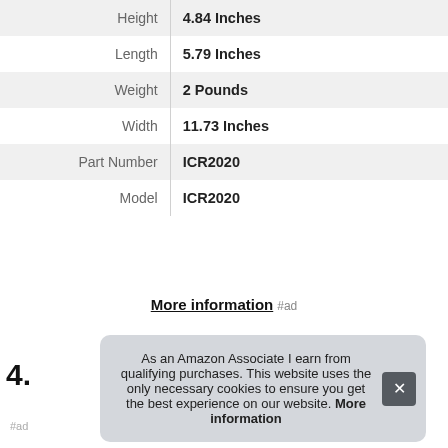| Attribute | Value |
| --- | --- |
| Height | 4.84 Inches |
| Length | 5.79 Inches |
| Weight | 2 Pounds |
| Width | 11.73 Inches |
| Part Number | ICR2020 |
| Model | ICR2020 |
More information #ad
4.
As an Amazon Associate I earn from qualifying purchases. This website uses the only necessary cookies to ensure you get the best experience on our website. More information
#ad